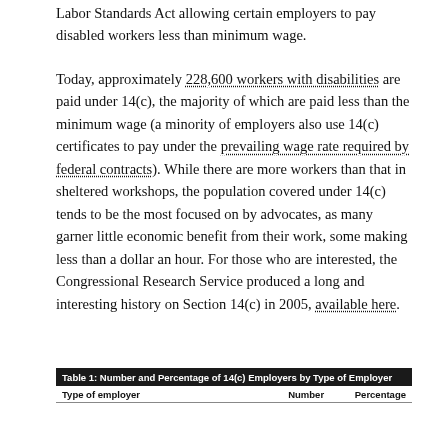Labor Standards Act allowing certain employers to pay disabled workers less than minimum wage.
Today, approximately 228,600 workers with disabilities are paid under 14(c), the majority of which are paid less than the minimum wage (a minority of employers also use 14(c) certificates to pay under the prevailing wage rate required by federal contracts). While there are more workers than that in sheltered workshops, the population covered under 14(c) tends to be the most focused on by advocates, as many garner little economic benefit from their work, some making less than a dollar an hour. For those who are interested, the Congressional Research Service produced a long and interesting history on Section 14(c) in 2005, available here.
| Type of employer | Number | Percentage |
| --- | --- | --- |